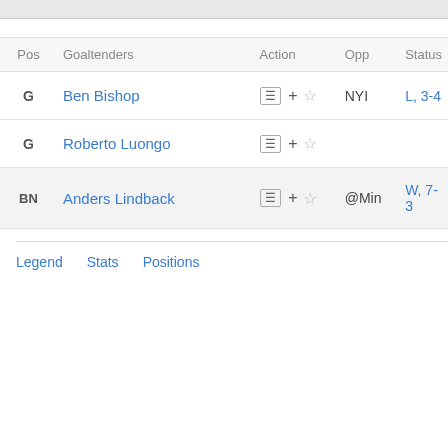| Pos | Goaltenders | Action | Opp | Status |
| --- | --- | --- | --- | --- |
| G | Ben Bishop | ☰ + ☆ | NYI | L, 3-4 |
| G | Roberto Luongo | ☰ + ☆ |  |  |
| BN | Anders Lindback | ☰ + ☆ | @Min | W, 7-3 |
Legend   Stats   Positions